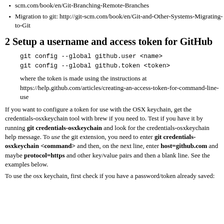scm.com/book/en/Git-Branching-Remote-Branches
Migration to git: http://git-scm.com/book/en/Git-and-Other-Systems-Migrating-to-Git
2 Setup a username and access token for GitHub
git config --global github.user <name>
git config --global github.token <token>
where the token is made using the instructions at https://help.github.com/articles/creating-an-access-token-for-command-line-use
If you want to configure a token for use with the OSX keychain, get the credentials-osxkeychain tool with brew if you need to. Test if you have it by running git credentials-osxkeychain and look for the credentials-osxkeychain help message. To use the git extension, you need to enter git credentials-osxkeychain <command> and then, on the next line, enter host=github.com and maybe protocol=https and other key/value pairs and then a blank line. See the examples below.
To use the osx keychain, first check if you have a password/token already saved: